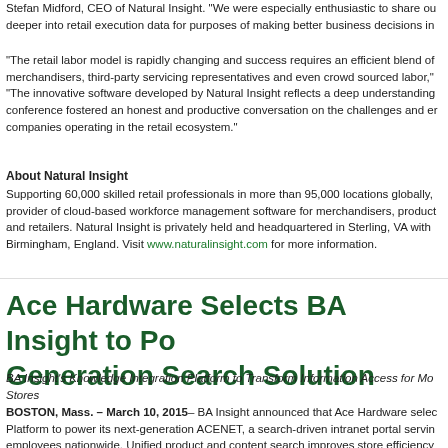Stefan Midford, CEO of Natural Insight. "We were especially enthusiastic to share our deeper into retail execution data for purposes of making better business decisions in
"The retail labor model is rapidly changing and success requires an efficient blend of merchandisers, third-party servicing representatives and even crowd sourced labor," "The innovative software developed by Natural Insight reflects a deep understanding conference fostered an honest and productive conversation on the challenges and companies operating in the retail ecosystem."
About Natural Insight
Supporting 60,000 skilled retail professionals in more than 95,000 locations globally, provider of cloud-based workforce management software for merchandisers, products and retailers. Natural Insight is privately held and headquartered in Sterling, VA with Birmingham, England. Visit www.naturalinsight.com for more information.
Ace Hardware Selects BA Insight to Po Generation Search Solution
BA Insight's Knowledge Integration Platform to Transform Information Access for Mo Stores
BOSTON, Mass. – March 10, 2015– BA Insight announced that Ace Hardware selec Platform to power its next-generation ACENET, a search-driven intranet portal servin employees nationwide. Unified product and content search improves store efficienc